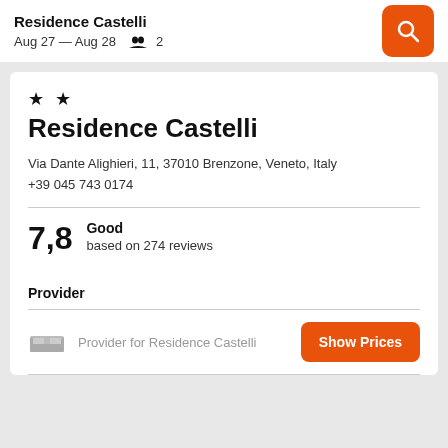Residence Castelli
Aug 27 — Aug 28   2
Residence Castelli
Via Dante Alighieri, 11, 37010 Brenzone, Veneto, Italy
+39 045 743 0174
7,8   Good
based on 274 reviews
Provider
Provider for Residence Castelli